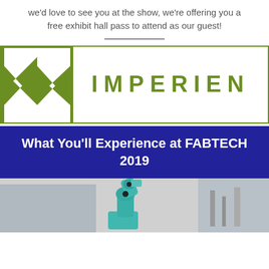we'd love to see you at the show, we're offering you a free exhibit hall pass to attend as our guest!
[Figure (logo): Imperien company logo with green chevron/arrow shapes on left and IMPERIEN text in olive green on right, all inside a green-bordered rectangle]
What You'll Experience at FABTECH 2019
[Figure (photo): Industrial robotic arm in teal/cyan color working in a factory setting, greyscale background with colored robot arm]